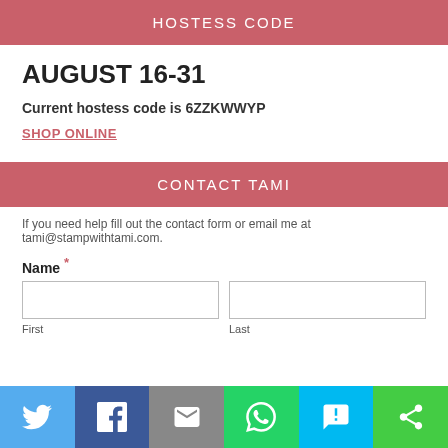HOSTESS CODE
AUGUST 16-31
Current hostess code is 6ZZKWWYP
SHOP ONLINE
CONTACT TAMI
If you need help fill out the contact form or email me at tami@stampwithtami.com.
Name * First Last
[Figure (infographic): Social sharing bar with icons for Twitter, Facebook, Email, WhatsApp, SMS, and another share option]